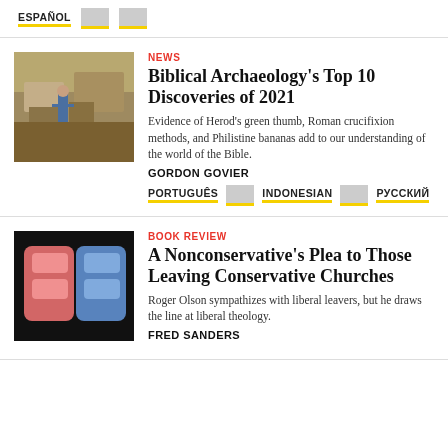ESPAÑOL [flag] [flag]
NEWS
Biblical Archaeology's Top 10 Discoveries of 2021
Evidence of Herod's green thumb, Roman crucifixion methods, and Philistine bananas add to our understanding of the world of the Bible.
GORDON GOVIER
PORTUGUÊS [flag] INDONESIAN [flag] РУССКИЙ
BOOK REVIEW
A Nonconservative's Plea to Those Leaving Conservative Churches
Roger Olson sympathizes with liberal leavers, but he draws the line at liberal theology.
FRED SANDERS